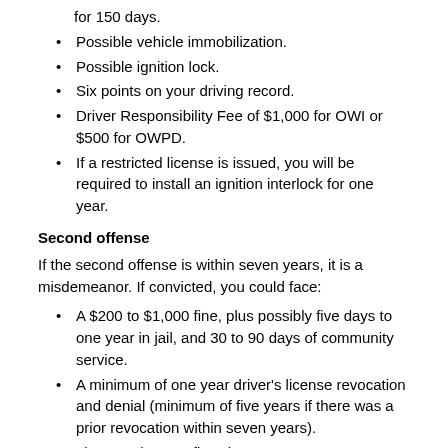for 150 days.
Possible vehicle immobilization.
Possible ignition lock.
Six points on your driving record.
Driver Responsibility Fee of $1,000 for OWI or $500 for OWPD.
If a restricted license is issued, you will be required to install an ignition interlock for one year.
Second offense
If the second offense is within seven years, it is a misdemeanor. If convicted, you could face:
A $200 to $1,000 fine, plus possibly five days to one year in jail, and 30 to 90 days of community service.
A minimum of one year driver's license revocation and denial (minimum of five years if there was a prior revocation within seven years).
License plate confiscation.
Vehicle immobilization for 90 to 180 days, unless you forfeit the vehicle.
Possible vehicle forfeiture.